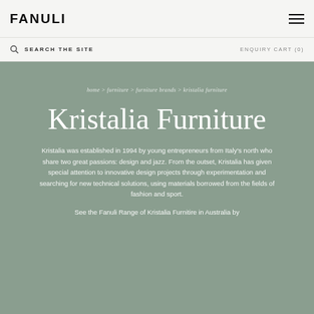FANULI
SEARCH THE SITE
ENQUIRY CART (0)
home > furniture > furniture brands > kristalia furniture
Kristalia Furniture
Kristalia was established in 1994 by young entrepreneurs from Italy's north who share two great passions: design and jazz. From the outset, Kristalia has given special attention to innovative design projects through experimentation and searching for new technical solutions, using materials borrowed from the fields of fashion and sport.
See the Fanuli Range of Kristalia Furnitire in Australia by